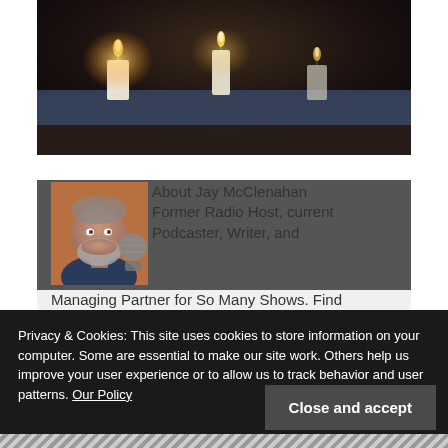[Figure (photo): Candles photo at the top of article page, dark background with warm candle flames]
[Figure (photo): Headshot of Jay McClenahan, a man with grey beard, next to a microphone]
About Jay McClenahan Former Radio Host, current Podcaster, Writer, and Managing Partner for So Many Shows. Find
Privacy & Cookies: This site uses cookies to store information on your computer. Some are essential to make our site work. Others help us improve your user experience or to allow us to track behavior and user patterns. Our Policy
Close and accept